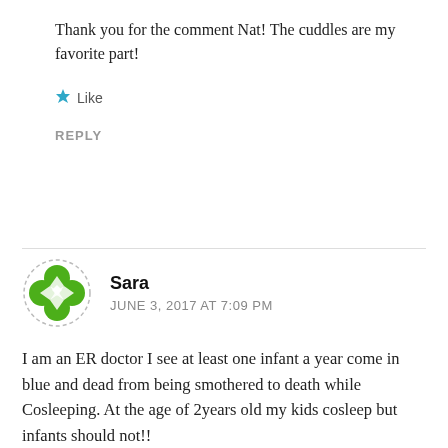Thank you for the comment Nat! The cuddles are my favorite part!
★ Like
REPLY
Sara
JUNE 3, 2017 AT 7:09 PM
I am an ER doctor I see at least one infant a year come in blue and dead from being smothered to death while Cosleeping. At the age of 2years old my kids cosleep but infants should not!!
★ Like